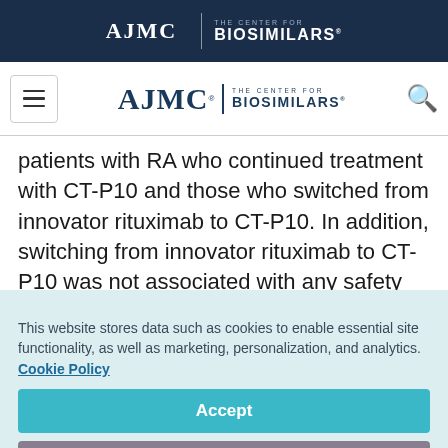[Figure (logo): AJMC and The Center for Biosimilars logo in dark navy top banner]
[Figure (logo): Navigation bar with hamburger menu, AJMC | The Center for Biosimilars logo, and search icon]
patients with RA who continued treatment with CT-P10 and those who switched from innovator rituximab to CT-P10. In addition, switching from innovator rituximab to CT-P10 was not associated with any safety issues, and long-term
This website stores data such as cookies to enable essential site functionality, as well as marketing, personalization, and analytics. Cookie Policy
Accept
Deny